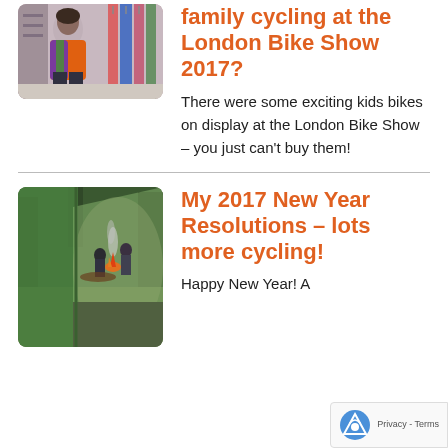[Figure (photo): Woman in colorful tie-dye jacket standing in a bike shop with cycling gear hanging in the background]
family cycling at the London Bike Show 2017?
There were some exciting kids bikes on display at the London Bike Show – you just can't buy them!
[Figure (photo): View through a green tent opening showing two people around a campfire in a forested area]
My 2017 New Year Resolutions – lots more cycling!
Happy New Year! A